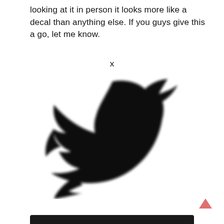looking at it in person it looks more like a decal than anything else. If you guys give this a go, let me know.
x
[Figure (logo): Large black Twitter bird logo silhouette centered on a white background, slightly blurred/soft edges.]
[Figure (other): Salmon/pink upward-pointing chevron arrow in bottom-right corner, used as a scroll-to-top button.]